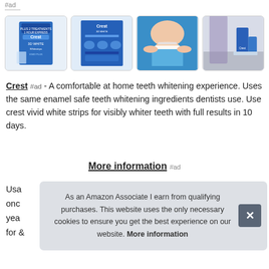#ad
[Figure (photo): Four product images: Crest whitening strips box, another Crest whitening strips box, close-up of a person applying whitening strip to teeth, and Crest products on bathroom counter.]
Crest #ad - A comfortable at home teeth whitening experience. Uses the same enamel safe teeth whitening ingredients dentists use. Use crest vivid white strips for visibly whiter teeth with full results in 10 days.
More information #ad
Usa...
As an Amazon Associate I earn from qualifying purchases. This website uses the only necessary cookies to ensure you get the best experience on our website. More information